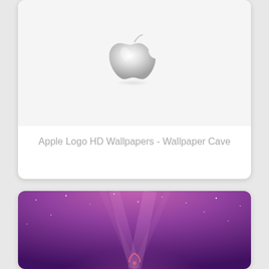[Figure (screenshot): White card showing silver Apple logo on light gray/white background, with caption text below]
Apple Logo HD Wallpapers - Wallpaper Cave
[Figure (illustration): Purple/violet galaxy-style wallpaper with pink aurora/nebula and stars, partial view of Apple logo at bottom center]